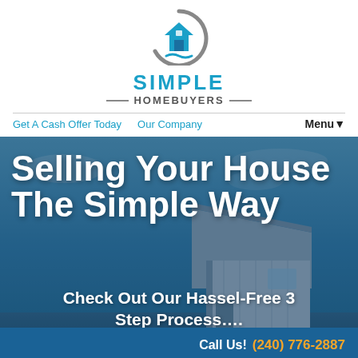[Figure (logo): Simple Homebuyers logo with house icon inside a crescent/arc shape]
SIMPLE
—HOMEBUYERS—
Get A Cash Offer Today   Our Company   Menu▼
[Figure (photo): Background photo of a modern house with blue sky]
Selling Your House The Simple Way
Check Out Our Hassel-Free 3 Step Process....
Call Us! (240) 776-2887